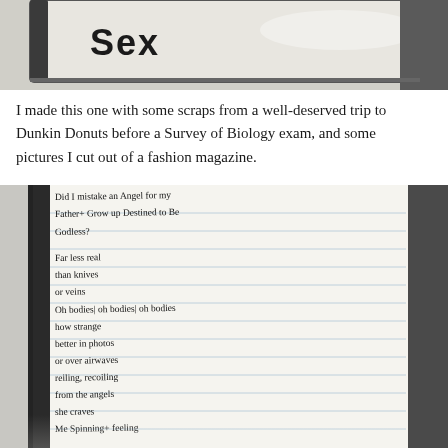[Figure (photo): Top portion of a photo showing a book cover or notebook with the word 'sex' visible, partially cropped, with a reflective surface.]
I made this one with some scraps from a well-deserved trip to Dunkin Donuts before a Survey of Biology exam, and some pictures I cut out of a fashion magazine.
[Figure (photo): Photo of a handwritten notebook page with a poem. The handwritten text reads: 'Did I mistake an Angel for my Father+ Grow up Destined to Be Godless? Far less real than knives or veins Oh bodies| oh bodies| oh bodies how strange better in photos or over airwaves reiling, recoiling from the angels she craves Me Spinning+ feeling Me fallen so low denying my daydreams that both kinds of blow only at night only fallen (with more)']